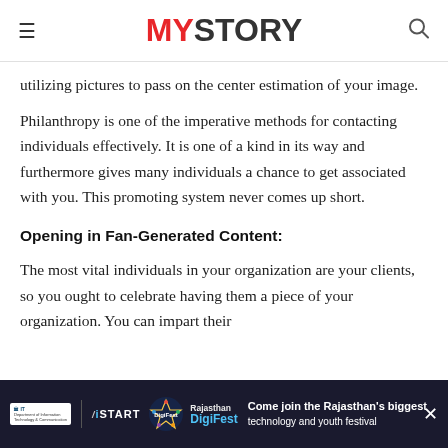MYSTORY
utilizing pictures to pass on the center estimation of your image.
Philanthropy is one of the imperative methods for contacting individuals effectively. It is one of a kind in its way and furthermore gives many individuals a chance to get associated with you. This promoting system never comes up short.
Opening in Fan-Generated Content:
The most vital individuals in your organization are your clients, so you ought to celebrate having them a piece of your organization. You can impart their
[Figure (screenshot): Advertisement banner for Rajasthan DigiFest by IT & iStart. Dark background with logos and text: 'Come join the Rajasthan's biggest technology and youth festival']